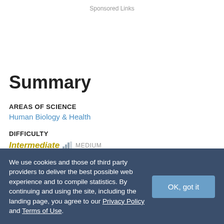Sponsored Links
Summary
AREAS OF SCIENCE
Human Biology & Health
DIFFICULTY
Intermediate   MEDIUM
We use cookies and those of third party providers to deliver the best possible web experience and to compile statistics. By continuing and using the site, including the landing page, you agree to our Privacy Policy and Terms of Use.